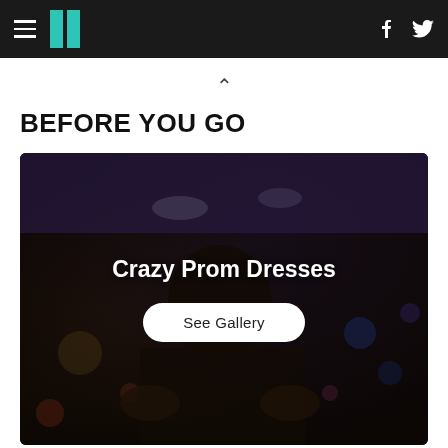HuffPost navigation bar with hamburger menu, logo, Facebook and Twitter icons
^
BEFORE YOU GO
[Figure (photo): Dark photo of a person with short black hair viewed from behind, in a shopping mall environment with blurred colorful bokeh lights. Overlay text reads 'Crazy Prom Dresses' with a 'See Gallery' button below.]